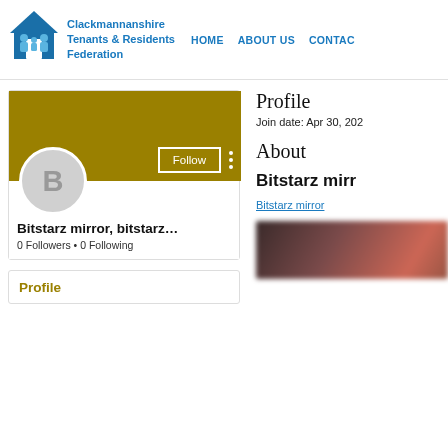[Figure (logo): Clackmannanshire Tenants & Residents Federation logo with house and family silhouette icon in blue]
Clackmannanshire Tenants & Residents Federation | HOME | ABOUT US | CONTACT
[Figure (screenshot): User profile card with golden/dark yellow banner, avatar circle with letter B, Follow button, and three-dot menu]
Bitstarz mirror, bitstarz…
0 Followers • 0 Following
Profile
Join date: Apr 30, 202
About
Bitstarz mirr
Bitstarz mirror
[Figure (photo): Blurred dark reddish image, partially visible at bottom right]
Profile